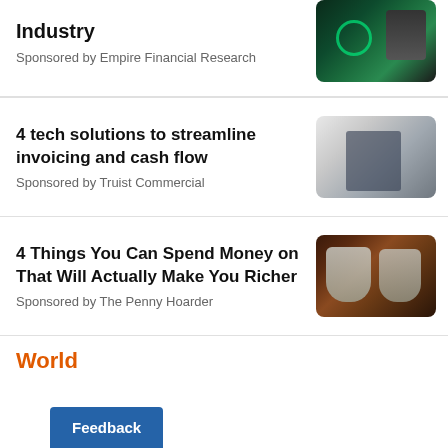Industry
Sponsored by Empire Financial Research
[Figure (photo): Electric vehicle charging station with glowing green cables]
4 tech solutions to streamline invoicing and cash flow
Sponsored by Truist Commercial
[Figure (photo): Man standing in a factory or warehouse holding a clipboard]
4 Things You Can Spend Money on That Will Actually Make You Richer
Sponsored by The Penny Hoarder
[Figure (photo): Two bundles of money shaped like fruit/shield on a wooden table]
World
Feedback